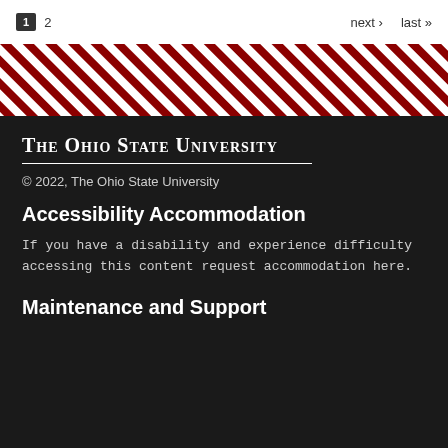1  2  next › last »
[Figure (illustration): Diagonal red and white stripe pattern band]
The Ohio State University
© 2022, The Ohio State University
Accessibility Accommodation
If you have a disability and experience difficulty accessing this content request accommodation here.
Maintenance and Support